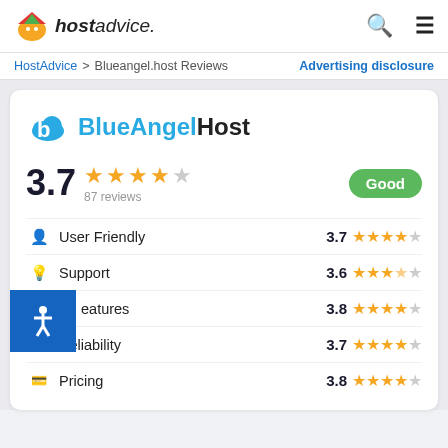hostadvice.
HostAdvice > Blueangel.host Reviews   Advertising disclosure
[Figure (logo): BlueAngelHost logo with blue cloud/B icon and text BlueAngelHost]
3.7 ★★★★☆ 87 reviews   Good
User Friendly  3.7 ★★★★☆
Support  3.6 ★★★★☆
Features  3.8 ★★★★☆
Reliability  3.7 ★★★★☆
Pricing  3.8 ★★★★☆